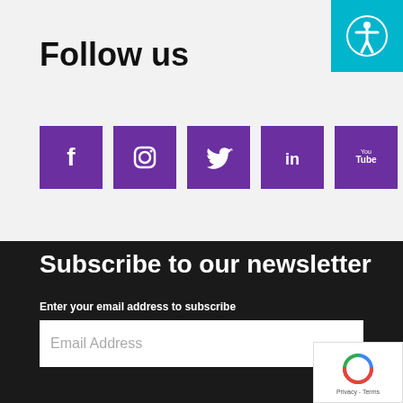Follow us
[Figure (infographic): Row of five purple social media icon buttons: Facebook, Instagram, Twitter, LinkedIn, YouTube]
Subscribe to our newsletter
Enter your email address to subscribe
[Figure (screenshot): Email address input field with placeholder text 'Email Address']
[Figure (logo): Google reCAPTCHA badge with circular arrow icon and Privacy - Terms text]